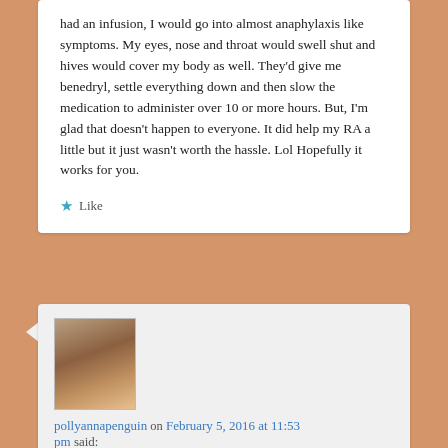had an infusion, I would go into almost anaphylaxis like symptoms. My eyes, nose and throat would swell shut and hives would cover my body as well. They'd give me benedryl, settle everything down and then slow the medication to administer over 10 or more hours. But, I'm glad that doesn't happen to everyone. It did help my RA a little but it just wasn't worth the hassle. Lol Hopefully it works for you.
★ Like
[Figure (photo): Avatar photo of pollyannapenguin showing a person reading a book]
pollyannapenguin on February 5, 2016 at 11:53 pm said: